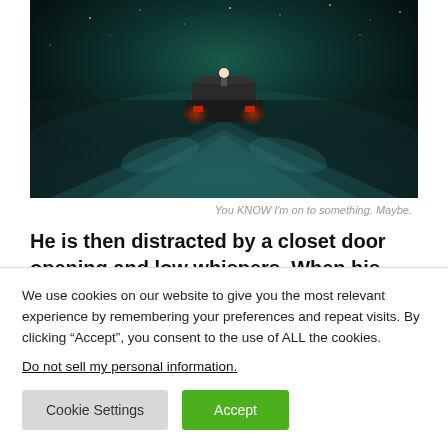[Figure (photo): A dark cinematic scene showing a vehicle with red headlights driving through a snowy or icy landscape at night, viewed from behind, with a blue-green glowing sky.]
You KNOW I'm on to something. Maybe.
He is then distracted by a closet door opening and low whispers. When his therapist moves to close the door
We use cookies on our website to give you the most relevant experience by remembering your preferences and repeat visits. By clicking “Accept”, you consent to the use of ALL the cookies.
Do not sell my personal information.